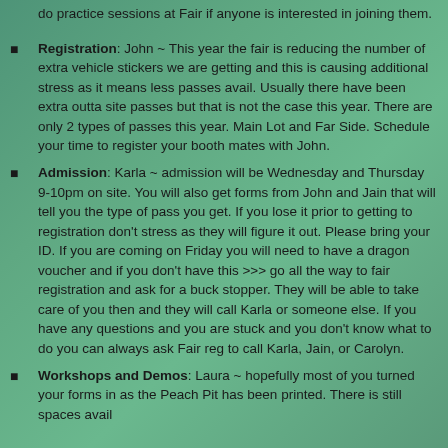do practice sessions at Fair if anyone is interested in joining them.
Registration: John ~ This year the fair is reducing the number of extra vehicle stickers we are getting and this is causing additional stress as it means less passes avail. Usually there have been extra outta site passes but that is not the case this year. There are only 2 types of passes this year. Main Lot and Far Side. Schedule your time to register your booth mates with John.
Admission: Karla ~ admission will be Wednesday and Thursday 9-10pm on site. You will also get forms from John and Jain that will tell you the type of pass you get. If you lose it prior to getting to registration don't stress as they will figure it out. Please bring your ID. If you are coming on Friday you will need to have a dragon voucher and if you don't have this >>> go all the way to fair registration and ask for a buck stopper. They will be able to take care of you then and they will call Karla or someone else. If you have any questions and you are stuck and you don't know what to do you can always ask Fair reg to call Karla, Jain, or Carolyn.
Workshops and Demos: Laura ~ hopefully most of you turned your forms in as the Peach Pit has been printed. There is still spaces avail...